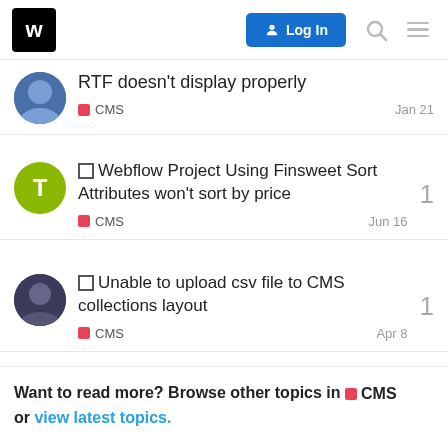W | Log In
RTF doesn't display properly | CMS | Jan 21
Webflow Project Using Finsweet Sort Attributes won't sort by price | CMS | Jun 16 | replies: 1
Unable to upload csv file to CMS collections layout | CMS | Apr 8 | replies: 1
How to add CTA button globally to (almost) all blog posts | CMS | Jun 7 | replies: 0
Want to read more? Browse other topics in CMS or view latest topics.